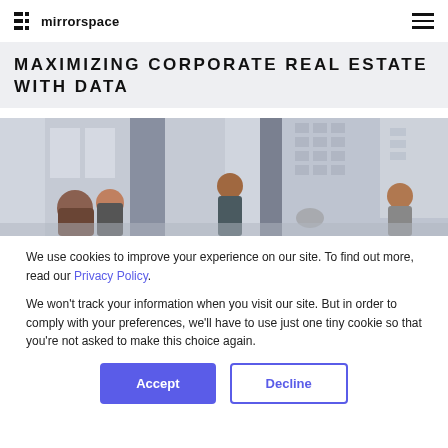mirrorspace
MAXIMIZING CORPORATE REAL ESTATE WITH DATA
[Figure (photo): Office interior with people working near large floor-to-ceiling windows overlooking city buildings]
We use cookies to improve your experience on our site. To find out more, read our Privacy Policy.
We won't track your information when you visit our site. But in order to comply with your preferences, we'll have to use just one tiny cookie so that you're not asked to make this choice again.
Accept  Decline